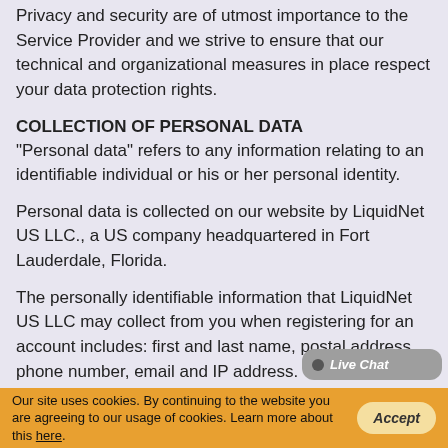Privacy and Security are of utmost importance to the Service Provider and we strive to ensure that our technical and organizational measures in place respect your data protection rights.
COLLECTION OF PERSONAL DATA
"Personal data" refers to any information relating to an identifiable individual or his or her personal identity.
Personal data is collected on our website by LiquidNet US LLC., a US company headquartered in Fort Lauderdale, Florida.
The personally identifiable information that LiquidNet US LLC may collect from you when registering for an account includes: first and last name, postal address, phone number, email and IP address.
[Figure (other): Live Chat bubble overlay in grey with chat icon]
Our site uses cookies. By continuing to the website you are agreeing to our usage of cookies. Learn more about this here.